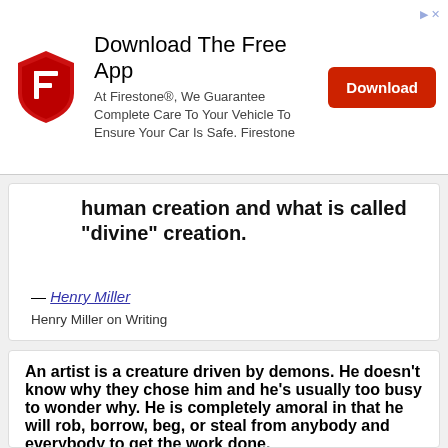[Figure (advertisement): Firestone app advertisement banner with shield logo, Download The Free App heading, body text, and red Download button]
human creation and what is called "divine" creation.
— Henry Miller
Henry Miller on Writing
An artist is a creature driven by demons.  He doesn't know why they chose him and he's usually too busy to wonder why.  He is completely amoral in that he will rob, borrow, beg, or steal from anybody and everybody to get the work done.